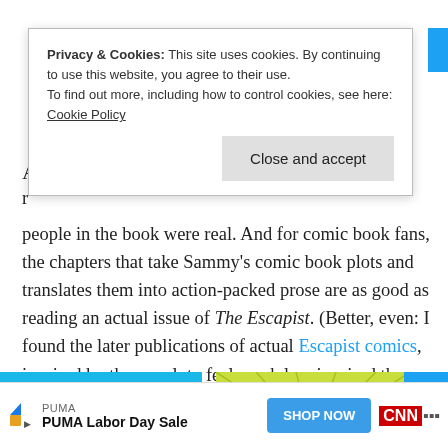people in the book were real. And for comic book fans, the chapters that take Sammy's comic book plots and translates them into action-packed prose are as good as reading an actual issue of The Escapist. (Better, even: I found the later publications of actual Escapist comics, inspired by the novel, to feel much less inspired than Chabon's prose.)
[Figure (screenshot): Cookie consent banner with text: Privacy & Cookies: This site uses cookies. By continuing to use this website, you agree to their use. To find out more, including how to control cookies, see here: Cookie Policy. With a Close and accept button.]
[Figure (photo): Book cover for 'powerless' with cyan/blue background and yellow italic title text with speed-line illustration]
[Figure (photo): Book cover with yellow-green background showing a superhero character, text reads 'By the author of Powerless']
[Figure (screenshot): Advertisement bar at bottom: PUMA Labor Day Sale with SHOP NOW button]